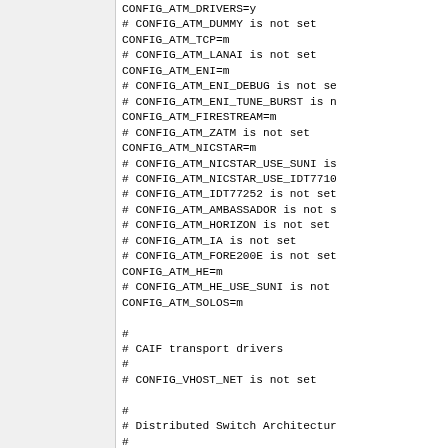CONFIG_ATM_DRIVERS=y
# CONFIG_ATM_DUMMY is not set
CONFIG_ATM_TCP=m
# CONFIG_ATM_LANAI is not set
CONFIG_ATM_ENI=m
# CONFIG_ATM_ENI_DEBUG is not set
# CONFIG_ATM_ENI_TUNE_BURST is not set
CONFIG_ATM_FIRESTREAM=m
# CONFIG_ATM_ZATM is not set
CONFIG_ATM_NICSTAR=m
# CONFIG_ATM_NICSTAR_USE_SUNI is not set
# CONFIG_ATM_NICSTAR_USE_IDT77105 is not set
# CONFIG_ATM_IDT77252 is not set
# CONFIG_ATM_AMBASSADOR is not set
# CONFIG_ATM_HORIZON is not set
# CONFIG_ATM_IA is not set
# CONFIG_ATM_FORE200E is not set
CONFIG_ATM_HE=m
# CONFIG_ATM_HE_USE_SUNI is not set
CONFIG_ATM_SOLOS=m

#
# CAIF transport drivers
#
# CONFIG_VHOST_NET is not set

#
# Distributed Switch Architecture
#
CONFIG_NET_DSA_MV88E6XXX=y
CONFIG_NET_DSA_MV88E6060=y
CONFIG_NET_DSA_MV88E6XXX_NEED_PP